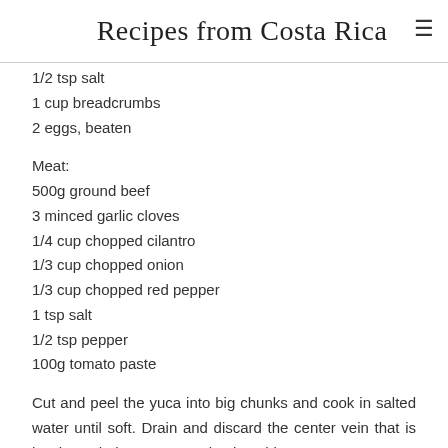Recipes from Costa Rica
1/2 tsp salt
1 cup breadcrumbs
2 eggs, beaten
Meat:
500g ground beef
3 minced garlic cloves
1/4 cup chopped cilantro
1/3 cup chopped onion
1/3 cup chopped red pepper
1 tsp salt
1/2 tsp pepper
100g tomato paste
Cut and peel the yuca into big chunks and cook in salted water until soft. Drain and discard the center vein that is hard; mash the yuca completely. Add